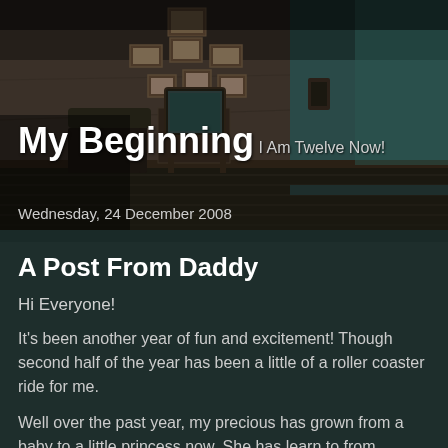[Figure (illustration): Dark atmospheric interior room with worn walls, framed pictures hanging on the wall, an old television set on a stand, a leather armchair, and dark wooden floor. The room has a gloomy, vintage feel with teal/dark green walls.]
My Beginning
I Am Twelve Now!
Wednesday, 24 December 2008
A Post From Daddy
Hi Everyone!
It's been another year of fun and excitement! Though second half of the year has been a little of a roller coaster ride for me.
Well over the past year, my precious has grown from a baby to a little princess now. She has learn to from crawling to